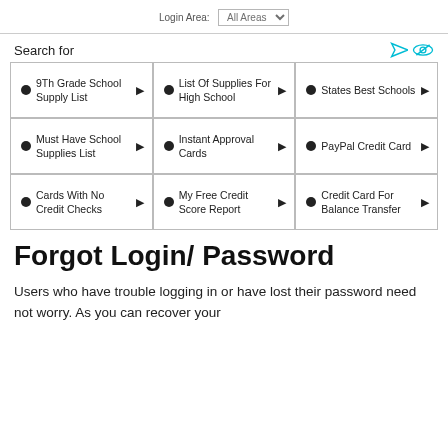Login Area: All Areas
Search for
9Th Grade School Supply List
List Of Supplies For High School
States Best Schools
Must Have School Supplies List
Instant Approval Cards
PayPal Credit Card
Cards With No Credit Checks
My Free Credit Score Report
Credit Card For Balance Transfer
Forgot Login/ Password
Users who have trouble logging in or have lost their password need not worry. As you can recover your